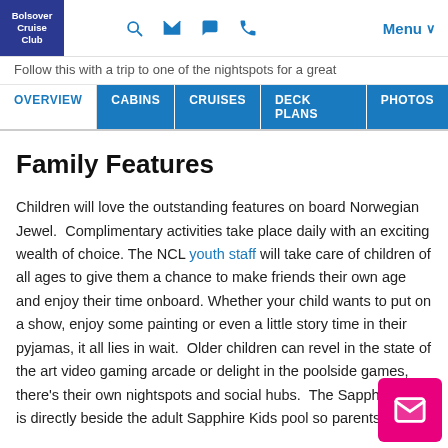Bolsover Cruise Club – navigation header with logo, search, mail, chat, phone icons and Menu
Follow this with a trip to one of the nightspots for a great
OVERVIEW | CABINS | CRUISES | DECK PLANS | PHOTOS
Family Features
Children will love the outstanding features on board Norwegian Jewel.  Complimentary activities take place daily with an exciting wealth of choice. The NCL youth staff will take care of children of all ages to give them a chance to make friends their own age and enjoy their time onboard. Whether your child wants to put on a show, enjoy some painting or even a little story time in their pyjamas, it all lies in wait.  Older children can revel in the state of the art video gaming arcade or delight in the poolside games, there's their own nightspots and social hubs.  The Sapphire Kids is directly beside the adult Sapphire Kids pool so parents can